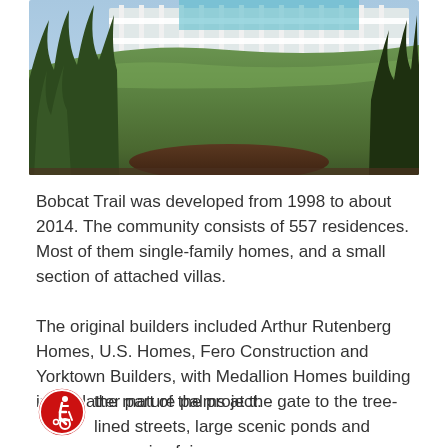[Figure (photo): Outdoor photo showing a grassy hillside with landscaping plants on the sides, a white fence/railing in the background, and what appears to be a pool area. Lush green lawn dominates the center with ornamental grasses and shrubs on the edges, dark mulch bed in front.]
Bobcat Trail was developed from 1998 to about 2014. The community consists of 557 residences. Most of them single-family homes, and a small section of attached villas.
The original builders included Arthur Rutenberg Homes, U.S. Homes, Fero Construction and Yorktown Builders, with Medallion Homes building in the latter part of the project.
the mature palms at the gate to the tree-lined streets, large scenic ponds and expansive fairways,